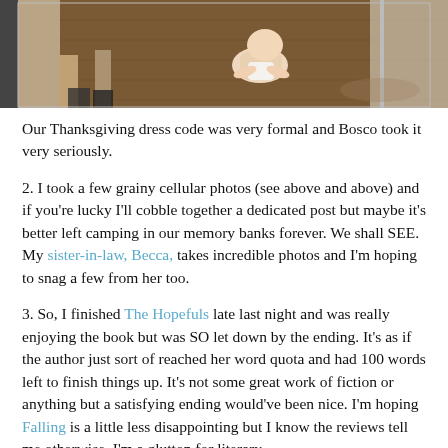[Figure (photo): Photo of a baby crawling on a hardwood floor with adults standing nearby. The scene appears to be indoors at a Thanksgiving gathering.]
Our Thanksgiving dress code was very formal and Bosco took it very seriously.
2. I took a few grainy cellular photos (see above and above) and if you're lucky I'll cobble together a dedicated post but maybe it's better left camping in our memory banks forever. We shall SEE. My sister-in-law, Becca, takes incredible photos and I'm hoping to snag a few from her too.
3. So, I finished The Hopefuls late last night and was really enjoying the book but was SO let down by the ending. It's as if the author just sort of reached her word quota and had 100 words left to finish things up. It's not some great work of fiction or anything but a satisfying ending would've been nice. I'm hoping Falling is a little less disappointing but I know the reviews tell me otherwise. I'm a glutton for literary